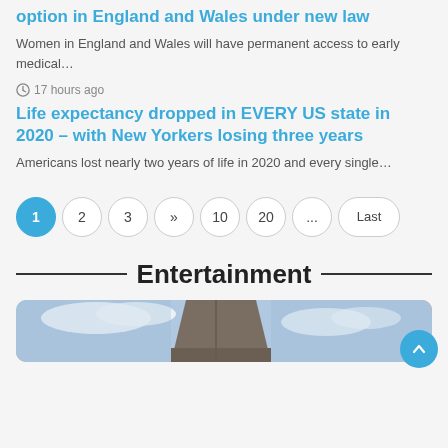option in England and Wales under new law
Women in England and Wales will have permanent access to early medical…
17 hours ago
Life expectancy dropped in EVERY US state in 2020 – with New Yorkers losing three years
Americans lost nearly two years of life in 2020 and every single…
1 2 3 » 10 20 ... Last
Entertainment
[Figure (photo): Partial view of a building exterior against a blue sky with clouds]